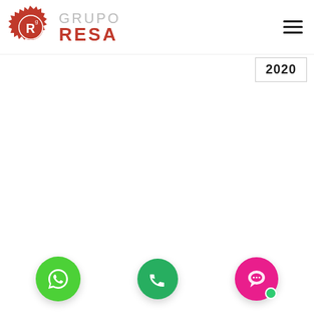[Figure (logo): Grupo RESA logo with red gear badge and text]
[Figure (other): Hamburger menu icon (three horizontal lines)]
2020
[Figure (other): WhatsApp green circle button with phone/chat icon]
[Figure (other): Phone green circle button with handset icon]
[Figure (other): Pink/magenta chat circle button with speech bubble icon and green dot]